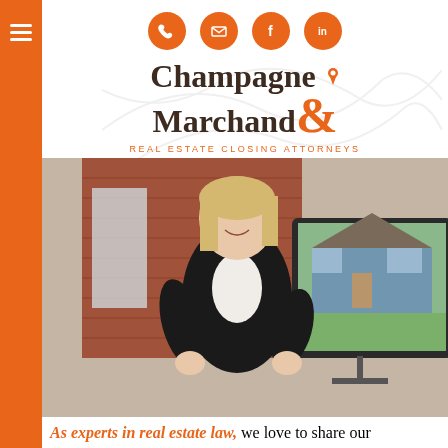[Figure (logo): Champagne & Marchand Real Estate Closing Attorneys logo with location pin icon and orange circular social media icons (phone, email, Facebook, LinkedIn)]
[Figure (photo): Professional woman in black blazer standing in an office presenting, smiling, with a TV screen showing a house in the background]
As experts in real estate law, we love to share our